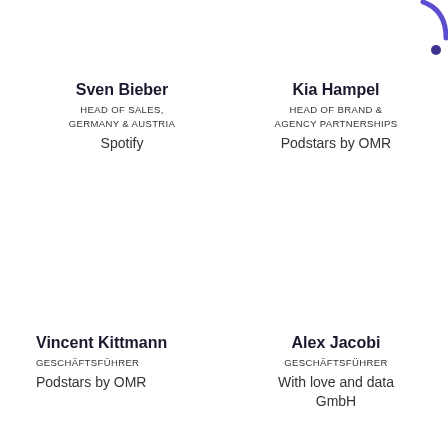[Figure (illustration): Decorative purple/dark blue dots and partial circle arc in top-right corner]
Sven Bieber
HEAD OF SALES,
GERMANY & AUSTRIA
Spotify
Kia Hampel
HEAD OF BRAND &
AGENCY PARTNERSHIPS
Podstars by OMR
Vincent Kittmann
GESCHÄFTSFÜHRER
Podstars by OMR
Alex Jacobi
GESCHÄFTSFÜHRER
With love and data GmbH